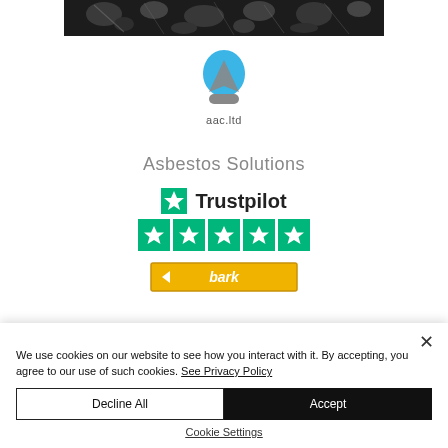[Figure (photo): Close-up microscopic/macro photograph of asbestos fibers, dark background]
[Figure (logo): aac.ltd logo — blue-grey teardrop/triangle shape with text 'aac.ltd' below]
Asbestos Solutions
[Figure (logo): Trustpilot logo with 5-star green rating row]
[Figure (logo): Bark badge — golden/amber colored badge with 'bark' text]
We use cookies on our website to see how you interact with it. By accepting, you agree to our use of such cookies. See Privacy Policy
Decline All
Accept
Cookie Settings